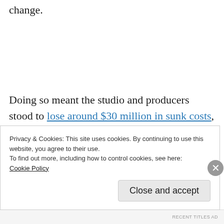change.
Doing so meant the studio and producers stood to lose around $30 million in sunk costs, but the movie bombing because people were avoiding public spaces like movie theaters had the potential to be much worse financially in addition to damaging public health rights.
Privacy & Cookies: This site uses cookies. By continuing to use this website, you agree to their use.
To find out more, including how to control cookies, see here:
Cookie Policy
Close and accept